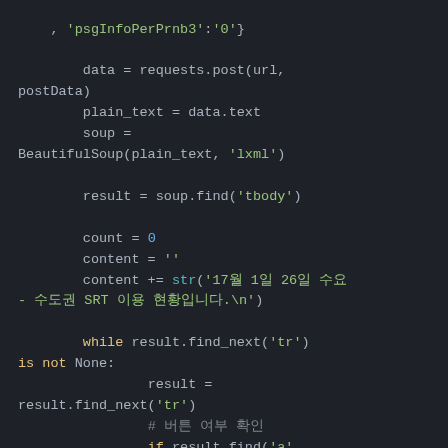Code block showing Python web scraping code with BeautifulSoup